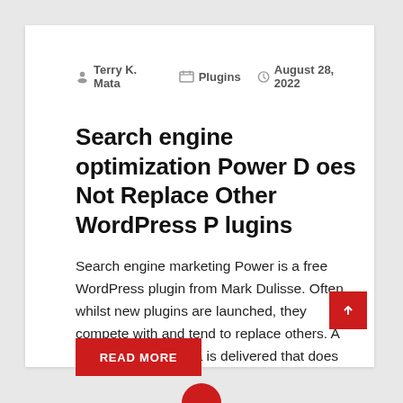Terry K. Mata   Plugins   August 28, 2022
Search engine optimization Power Does Not Replace Other WordPress Plugins
Search engine marketing Power is a free WordPress plugin from Mark Dulisse. Often whilst new plugins are launched, they compete with and tend to replace others. A very new plugin idea is delivered that does
READ MORE